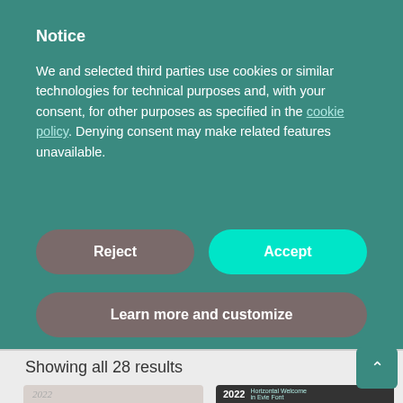Notice
We and selected third parties use cookies or similar technologies for technical purposes and, with your consent, for other purposes as specified in the cookie policy. Denying consent may make related features unavailable.
Reject
Accept
Learn more and customize
Showing all 28 results
Sort by latest
[Figure (screenshot): Two product card thumbnails partially visible at bottom: left card shows '2022' in gray italic text over a light background; right card shows '2022' in bold white text with 'Horizontal Welcome in Evie Font' overlay text on dark background. A teal scroll-to-top button with up arrow is visible on the right.]